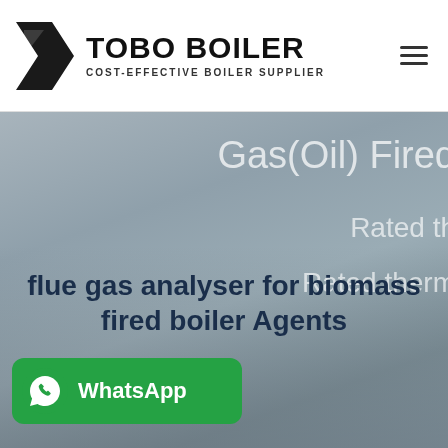[Figure (logo): TOBO BOILER logo with angular K-shaped icon and text 'COST-EFFECTIVE BOILER SUPPLIER']
[Figure (photo): Hero banner image showing industrial boiler equipment in muted grey-blue tones with overlay text 'Gas(Oil) Fired', 'Rated th...', 'Rated therm...' partially visible on the right side]
flue gas analyser for biomass fired boiler Agents
[Figure (other): WhatsApp contact button (green rounded rectangle with WhatsApp icon and label 'WhatsApp')]